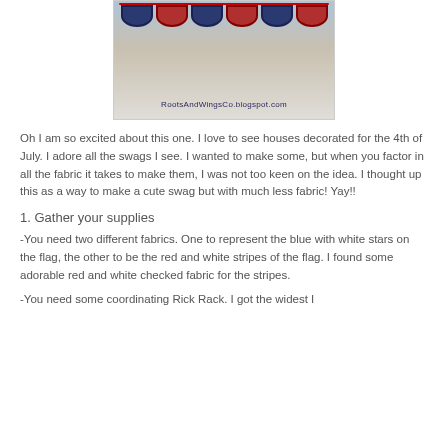[Figure (photo): Photo of patriotic red, white, and blue fabric bunting/swags hung above a window, with watermark text 'RootsAndWingsCo.blogspot.com']
Oh I am so excited about this one. I love to see houses decorated for the 4th of July. I adore all the swags I see. I wanted to make some, but when you factor in all the fabric it takes to make them, I was not too keen on the idea. I thought up this as a way to make a cute swag but with much less fabric! Yay!!
1. Gather your supplies
-You need two different fabrics. One to represent the blue with white stars on the flag, the other to be the red and white stripes of the flag. I found some adorable red and white checked fabric for the stripes.
-You need some coordinating Rick Rack. I got the widest I